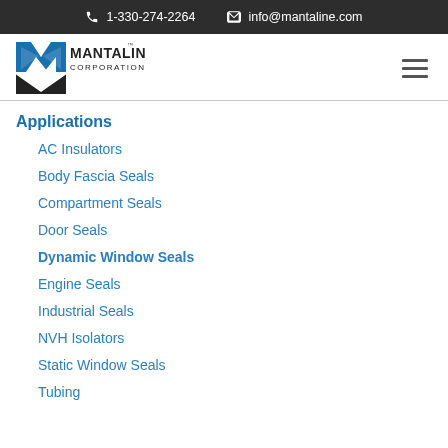1-330-274-2264  info@mantaline.com
[Figure (logo): Mantaline Corporation logo with blue and black geometric M shape and company name]
Applications
AC Insulators
Body Fascia Seals
Compartment Seals
Door Seals
Dynamic Window Seals
Engine Seals
Industrial Seals
NVH Isolators
Static Window Seals
Tubing